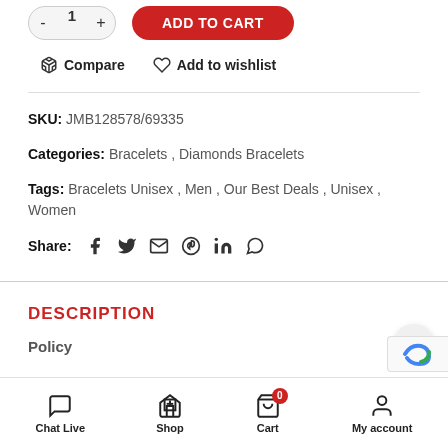ADD TO CART (button), quantity control -/1/+
Compare  Add to wishlist
SKU: JMB128578/69335
Categories: Bracelets, Diamonds Bracelets
Tags: Bracelets Unisex, Men, Our Best Deals, Unisex, Women
Share: (social icons: facebook, twitter, email, pinterest, linkedin, whatsapp)
DESCRIPTION
Policy
Chat Live  Shop  Cart (0)  My account